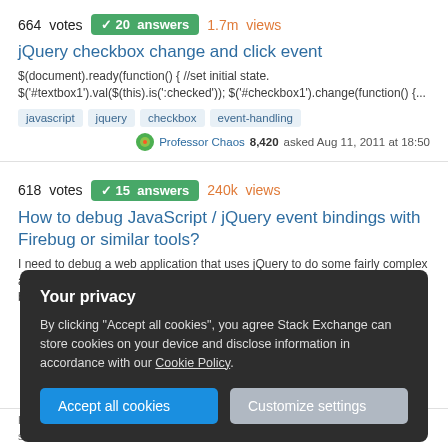664 votes  ✓ 20 answers  1.7m views
jQuery checkbox change and click event
$(document).ready(function() { //set initial state. $('#textbox1').val($(this).is(':checked')); $('#checkbox1').change(function() {...
javascript
jquery
checkbox
event-handling
Professor Chaos 8,420 asked Aug 11, 2011 at 18:50
618 votes  ✓ 15 answers  240k views
How to debug JavaScript / jQuery event bindings with Firebug or similar tools?
I need to debug a web application that uses jQuery to do some fairly complex and messy DOM manipulation. At one point, some of the events that were bound to...
Your privacy
By clicking "Accept all cookies", you agree Stack Exchange can store cookies on your device and disclose information in accordance with our Cookie Policy.
Accept all cookies
Customize settings
How can I detect any text changes in a text field? The delegate method shouldChangeCharactersInRange works for something, but it did not fulfill my need